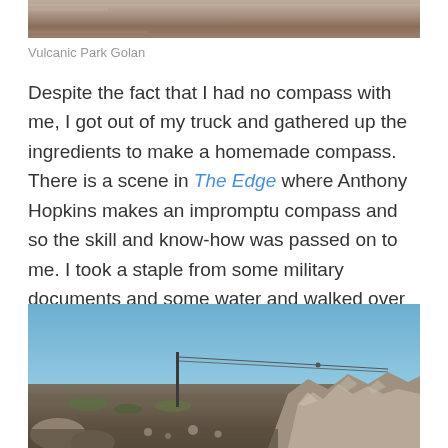[Figure (photo): Top portion of a rocky volcanic landscape photo, partial view]
Vulcanic Park Golan
Despite the fact that I had no compass with me, I got out of my truck and gathered up the ingredients to make a homemade compass. There is a scene in The Edge where Anthony Hopkins makes an impromptu compass and so the skill and know-how was passed on to me. I took a staple from some military documents and some water and walked over to the rock which is supposed to have the reverse magnetism.
[Figure (photo): Rocky volcanic landscape with a utility pole and wire against a blue sky, large boulders and rubble in the foreground]